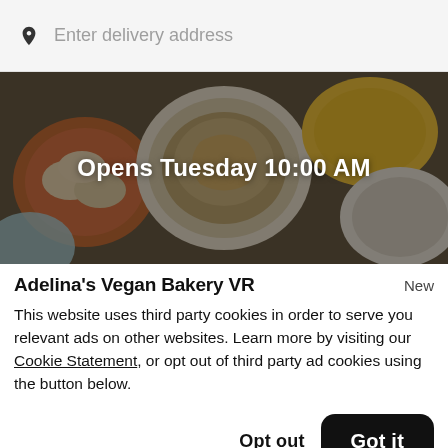Enter delivery address
[Figure (photo): Overhead view of assorted baked goods on plates with dark overlay. Text overlay reads 'Opens Tuesday 10:00 AM'.]
Adelina's Vegan Bakery VR
New
This website uses third party cookies in order to serve you relevant ads on other websites. Learn more by visiting our Cookie Statement, or opt out of third party ad cookies using the button below.
Opt out
Got it